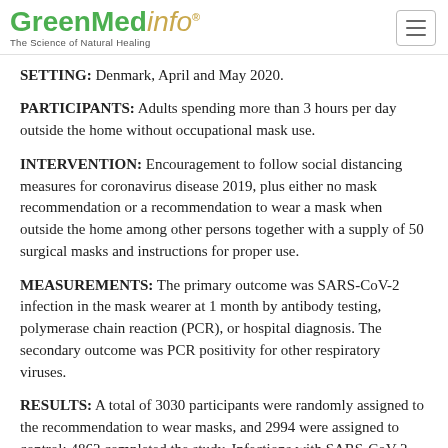GreenMedinfo — The Science of Natural Healing
SETTING: Denmark, April and May 2020.
PARTICIPANTS: Adults spending more than 3 hours per day outside the home without occupational mask use.
INTERVENTION: Encouragement to follow social distancing measures for coronavirus disease 2019, plus either no mask recommendation or a recommendation to wear a mask when outside the home among other persons together with a supply of 50 surgical masks and instructions for proper use.
MEASUREMENTS: The primary outcome was SARS-CoV-2 infection in the mask wearer at 1 month by antibody testing, polymerase chain reaction (PCR), or hospital diagnosis. The secondary outcome was PCR positivity for other respiratory viruses.
RESULTS: A total of 3030 participants were randomly assigned to the recommendation to wear masks, and 2994 were assigned to control; 4862 completed the study. Infections with SARS-CoV-2 occurred in 42...